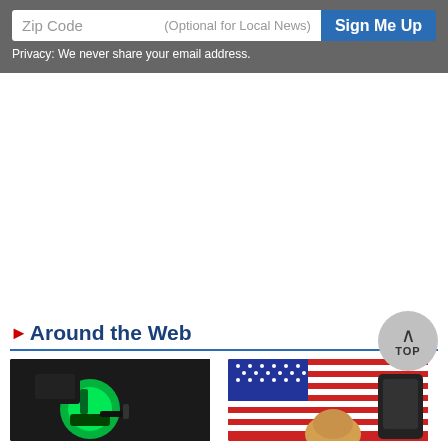Zip Code
(Optional for Local News)
Sign Me Up
Privacy: We never share your email address.
Around the Web
[Figure (photo): Green gas pump nozzle close-up on dark background]
[Figure (photo): Person in front of American flag, wearing black backpack]